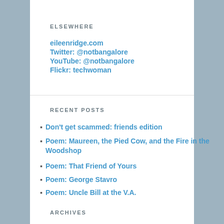ELSEWHERE
eileenridge.com
Twitter: @notbangalore
YouTube: @notbangalore
Flickr: techwoman
RECENT POSTS
Don't get scammed: friends edition
Poem: Maureen, the Pied Cow, and the Fire in the Woodshop
Poem: That Friend of Yours
Poem: George Stavro
Poem: Uncle Bill at the V.A.
ARCHIVES
September 2021
February 2017
June 2016